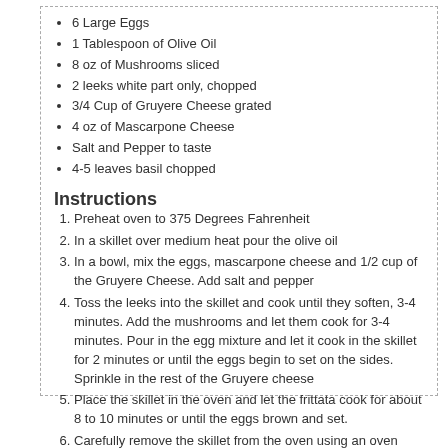6 Large Eggs
1 Tablespoon of Olive Oil
8 oz of Mushrooms sliced
2 leeks white part only, chopped
3/4 Cup of Gruyere Cheese grated
4 oz of Mascarpone Cheese
Salt and Pepper to taste
4-5 leaves basil chopped
Instructions
Preheat oven to 375 Degrees Fahrenheit
In a skillet over medium heat pour the olive oil
In a bowl, mix the eggs, mascarpone cheese and 1/2 cup of the Gruyere Cheese. Add salt and pepper
Toss the leeks into the skillet and cook until they soften, 3-4 minutes. Add the mushrooms and let them cook for 3-4 minutes. Pour in the egg mixture and let it cook in the skillet for 2 minutes or until the eggs begin to set on the sides. Sprinkle in the rest of the Gruyere cheese
Place the skillet in the oven and let the frittata cook for about 8 to 10 minutes or until the eggs brown and set.
Carefully remove the skillet from the oven using an oven glove or a kitchen towel and sprinkle the basil on top.